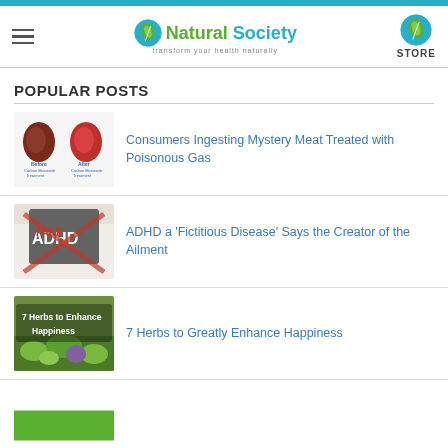Natural Society – Transform your health naturally
POPULAR POSTS
[Figure (photo): Before and after images of meat treated with Carbon Monoxide]
Consumers Ingesting Mystery Meat Treated with Poisonous Gas
[Figure (photo): Person holding a chalkboard sign reading ADHD FAKE]
ADHD a 'Fictitious Disease' Says the Creator of the Ailment
[Figure (photo): 7 Herbs to Enhance Happiness – herbs and plants image]
7 Herbs to Greatly Enhance Happiness